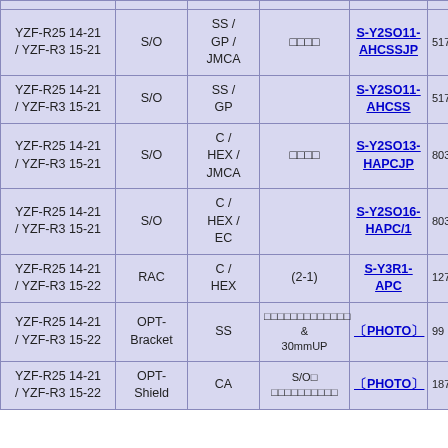| Model | Type | Style | Note | Part No. | Price |
| --- | --- | --- | --- | --- | --- |
| YZF-R25 14-21 / YZF-R3 15-21 | S/O | SS / GP / JMCA | □□□□ | S-Y2SO11-AHCSSJP | 517 |
| YZF-R25 14-21 / YZF-R3 15-21 | S/O | SS / GP |  | S-Y2SO11-AHCSS | 517 |
| YZF-R25 14-21 / YZF-R3 15-21 | S/O | C / HEX / JMCA | □□□□ | S-Y2SO13-HAPCJP | 803 |
| YZF-R25 14-21 / YZF-R3 15-21 | S/O | C / HEX / EC |  | S-Y2SO16-HAPC/1 | 803 |
| YZF-R25 14-21 / YZF-R3 15-22 | RAC | C / HEX | (2-1) | S-Y3R1-APC | 1276 |
| YZF-R25 14-21 / YZF-R3 15-22 | OPT-Bracket | SS | □□□□□□□□□□□□□ & 30mmUP | 〔PHOTO〕 | 99 |
| YZF-R25 14-21 / YZF-R3 15-22 | OPT-Shield | CA | S/O□ □□□□□□□□□□ | 〔PHOTO〕 | 187 |